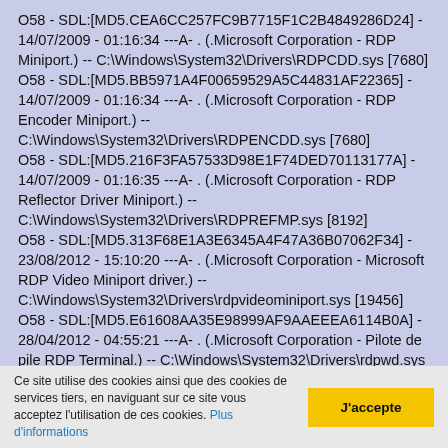O58 - SDL:[MD5.CEA6CC257FC9B7715F1C2B4849286D24] - 14/07/2009 - 01:16:34 ---A- . (.Microsoft Corporation - RDP Miniport.) -- C:\Windows\System32\Drivers\RDPCDD.sys [7680]
O58 - SDL:[MD5.BB5971A4F00659529A5C44831AF22365] - 14/07/2009 - 01:16:34 ---A- . (.Microsoft Corporation - RDP Encoder Miniport.) -- C:\Windows\System32\Drivers\RDPENCDD.sys [7680]
O58 - SDL:[MD5.216F3FA57533D98E1F74DED70113177A] - 14/07/2009 - 01:16:35 ---A- . (.Microsoft Corporation - RDP Reflector Driver Miniport.) -- C:\Windows\System32\Drivers\RDPREFMP.sys [8192]
O58 - SDL:[MD5.313F68E1A3E6345A4F47A36B07062F34] - 23/08/2012 - 15:10:20 ---A- . (.Microsoft Corporation - Microsoft RDP Video Miniport driver.) -- C:\Windows\System32\Drivers\rdpvideominiport.sys [19456]
O58 - SDL:[MD5.E61608AA35E98999AF9AAEEEA6114B0A] - 28/04/2012 - 04:55:21 ---A- . (.Microsoft Corporation - Pilote de pile RDP Terminal.) -- C:\Windows\System32\Drivers\rdpwd.sys
Ce site utilise des cookies ainsi que des cookies de services tiers, en naviguant sur ce site vous acceptez l'utilisation de ces cookies. Plus d'informations